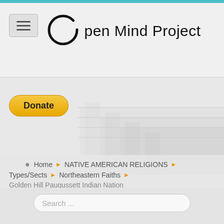Open Mind Project
[Figure (screenshot): Donate button - PayPal style yellow rounded button with bold text 'Donate']
[Figure (illustration): Background decorative stairs/steps graphic in light grey]
Home ▶ NATIVE AMERICAN RELIGIONS ▶ Types/Sects ▶ Northeastern Faiths ▶ Golden Hill Paugussett Indian Nation
Search ...